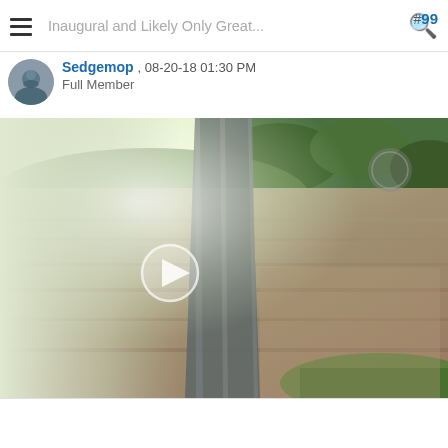Inaugural and Likely Only Great...
#99
[Figure (photo): Small circular avatar photo of a person in a kayak or canoe on water]
Sedgemop , 08-20-18 01:30 PM
Full Member
[Figure (photo): Aerial drone video thumbnail showing a road or bridge running diagonally across a brown river, with green trees on the banks. A play button is overlaid in the center-left.]